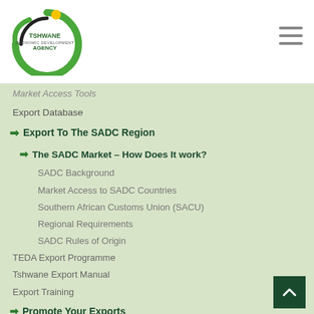[Figure (logo): Tshwane Economic Development Agency circular logo with green and black design and yellow dot]
Market Access Tools
Export Database
Export To The SADC Region
The SADC Market – How Does It work?
SADC Background
Market Access to SADC Countries
Southern African Customs Union (SACU)
Regional Requirements
SADC Rules of Origin
TEDA Export Programme
Tshwane Export Manual
Export Training
Promote Your Exports
Main Trade Fairs in the World (per sector)
Online Readiness Checker
Upcoming Events
Useful Contacts And Tools
In South Africa
In the Region